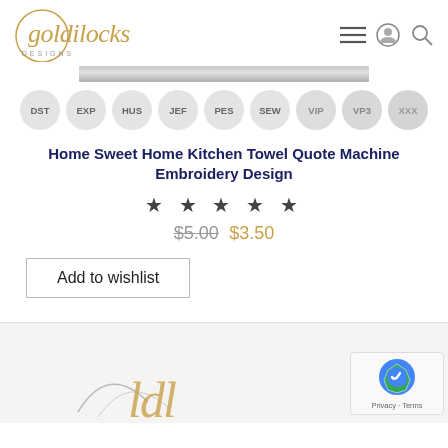[Figure (logo): Goldilocks Designs logo with circular 'g' and gold italic script text]
[Figure (infographic): File format pills: DST, EXP, HUS, JEF, PES, SEW, VIP, VP3, XXX in grey circles]
Home Sweet Home Kitchen Towel Quote Machine Embroidery Design
★ ★ ★ ★ ★
$5.00 $3.50
Add to wishlist
[Figure (logo): Goldilocks Designs logo partial view at bottom of page with gold script and reCAPTCHA badge]